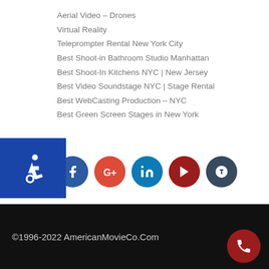Aerial Video – Drones
Virtual Reality
Teleprompter Rental New York City
Best Shoot-in Bathroom Studio Manhattan
Best Shoot-In Kitchens NYC | New Jersey
Best Video Soundstage NYC | Stage Rental
Best WebCasting Production – NYC
Best Green Screen Stages in New York
[Figure (other): Accessibility icon button (blue background with wheelchair symbol)]
[Figure (other): Social media icons: Facebook, Google+, LinkedIn, YouTube, Tumblr]
©1996-2022 AmericanMovieCo.Com